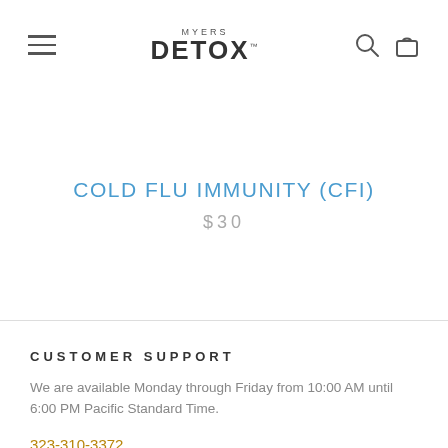MYERS DETOX™
COLD FLU IMMUNITY (CFI)
$30
CUSTOMER SUPPORT
We are available Monday through Friday from 10:00 AM until 6:00 PM Pacific Standard Time.
323-310-3372